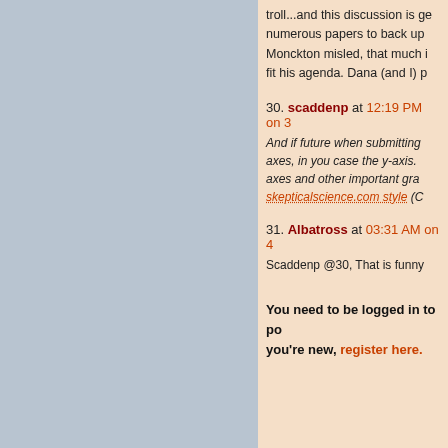troll...and this discussion is ge numerous papers to back up Monckton misled, that much i fit his agenda. Dana (and I) p
30. scaddenp at 12:19 PM on 3 And if future when submitting axes, in you case the y-axis. axes and other important gra skepticalscience.com style (C
31. Albatross at 03:31 AM on 4 Scaddenp @30, That is funny
You need to be logged in to pos you're new, register here.
© Copyright 2022 John Cook
Home | Translati
Look up a Term